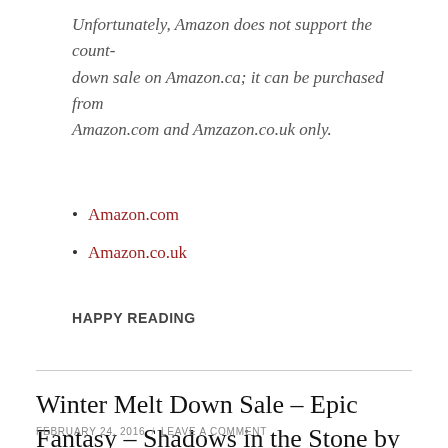Unfortunately, Amazon does not support the countdown sale on Amazon.ca; it can be purchased from Amazon.com and Amzazon.co.uk only.
Amazon.com
Amazon.co.uk
HAPPY READING
Winter Melt Down Sale – Epic Fantasy – Shadows in the Stone by Diane Lynn McGyver
FEBRUARY 24, 2016 / LEAVE A COMMENT